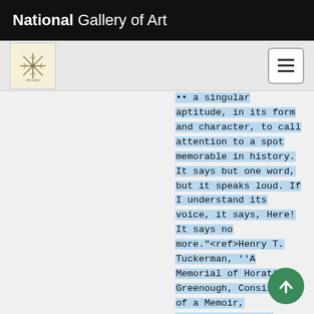National Gallery of Art
[Figure (logo): Navigation bar with a decorative snowflake/asterisk logo icon on the left and a hamburger menu button on the right]
aptitude, in its form and character, to call attention to a spot memorable in history. It says but one word, but it speaks loud. If I understand its voice, it says, Here! It says no more."<ref>Henry T. Tuckerman, ''A Memorial of Horatio Greenough, Consisting of a Memoir, Selections from His Writings, and Tributes to His Genius'' (New